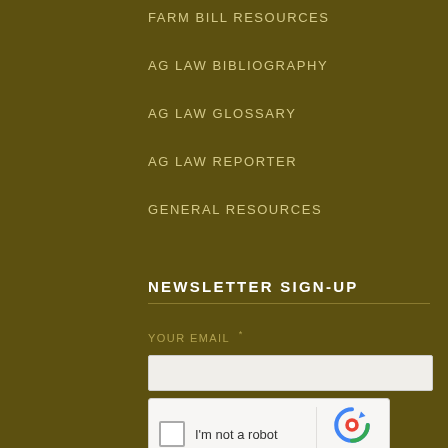FARM BILL RESOURCES
AG LAW BIBLIOGRAPHY
AG LAW GLOSSARY
AG LAW REPORTER
GENERAL RESOURCES
NEWSLETTER SIGN-UP
YOUR EMAIL *
[Figure (other): Email input text field, light grey background]
[Figure (other): reCAPTCHA widget with checkbox 'I'm not a robot' and reCAPTCHA logo with Privacy and Terms links]